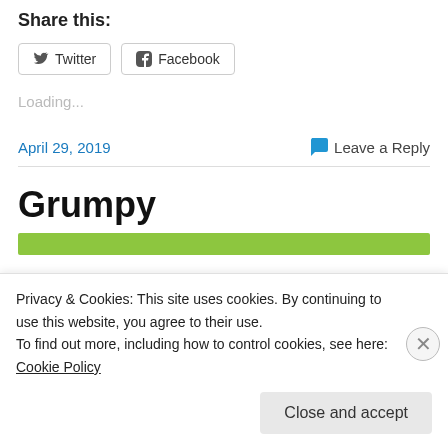Share this:
Twitter  Facebook
Loading...
April 29, 2019
Leave a Reply
Grumpy
Privacy & Cookies: This site uses cookies. By continuing to use this website, you agree to their use.
To find out more, including how to control cookies, see here: Cookie Policy
Close and accept